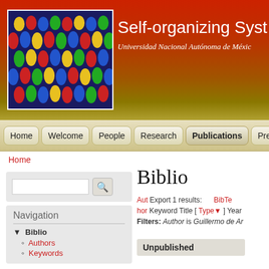[Figure (illustration): Colorful crowd of people silhouettes in red, yellow, green, and blue colors]
Self-organizing Syst...
Universidad Nacional Autónoma de México
Home | Welcome | People | Research | Publications | Presentations
Home
Biblio
Aut Export 1 results: BibTe... hor Keyword Title [ Type▼ ] Year
Filters: Author is Guillermo de Ar...
Navigation
▼ Biblio
Authors
Keywords
| Unpublished |
| --- |